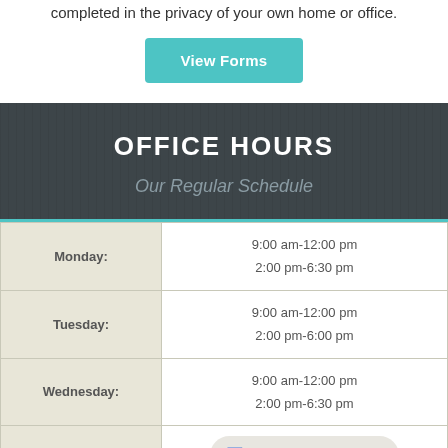completed in the privacy of your own home or office.
View Forms
OFFICE HOURS
Our Regular Schedule
| Day | Hours |
| --- | --- |
| Monday: | 9:00 am-12:00 pm
2:00 pm-6:30 pm |
| Tuesday: | 9:00 am-12:00 pm
2:00 pm-6:00 pm |
| Wednesday: | 9:00 am-12:00 pm
2:00 pm-6:30 pm |
| Thursday: |  |
Accessibility View